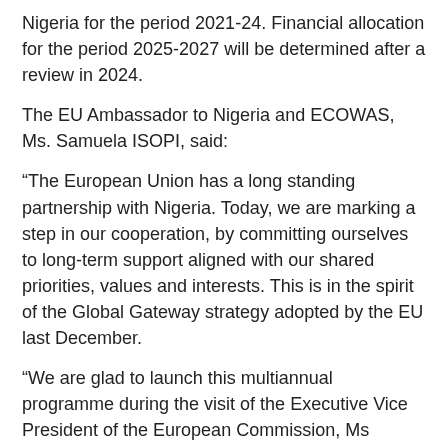Nigeria for the period 2021-24. Financial allocation for the period 2025-2027 will be determined after a review in 2024.
The EU Ambassador to Nigeria and ECOWAS, Ms. Samuela ISOPI, said:
“The European Union has a long standing partnership with Nigeria. Today, we are marking a step in our cooperation, by committing ourselves to long-term support aligned with our shared priorities, values and interests. This is in the spirit of the Global Gateway strategy adopted by the EU last December.
“We are glad to launch this multiannual programme during the visit of the Executive Vice President of the European Commission, Ms Margrethe Vestager, and on the eve the 6th EU-African Union Summit in Brussels.”
With this strategic document, the EU commits to provide